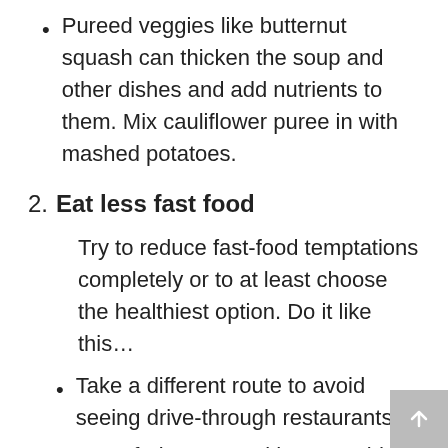Pureed veggies like butternut squash can thicken the soup and other dishes and add nutrients to them. Mix cauliflower puree in with mashed potatoes.
2. Eat less fast food
Try to reduce fast-food temptations completely or to at least choose the healthiest option. Do it like this…
Take a different route to avoid seeing drive-through restaurants.
Keep fruit or nuts with you to tide you over until you get home or to work.
If you can't resist, choose lower-calorie